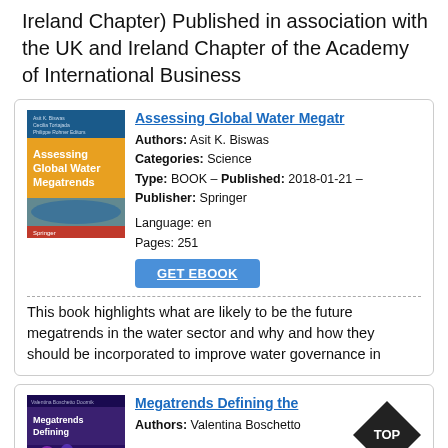Ireland Chapter) Published in association with the UK and Ireland Chapter of the Academy of International Business
[Figure (illustration): Book cover of 'Assessing Global Water Megatrends' with blue and yellow design, Springer publisher]
Assessing Global Water Megatr
Authors: Asit K. Biswas
Categories: Science
Type: BOOK - Published: 2018-01-21 - Publisher: Springer
Language: en
Pages: 251
GET EBOOK
This book highlights what are likely to be the future megatrends in the water sector and why and how they should be incorporated to improve water governance in
[Figure (illustration): Book cover of 'Megatrends Defining the...' with purple/blue design]
Megatrends Defining the
Authors: Valentina Boschetto